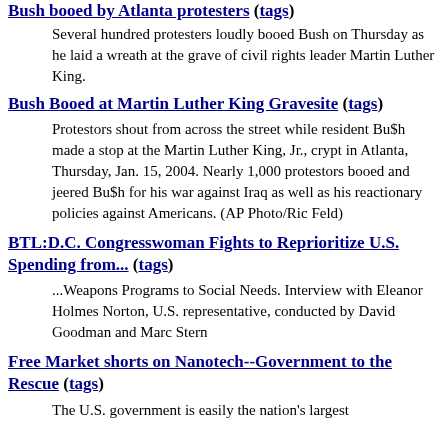Bush booed by Atlanta protesters (tags)
Several hundred protesters loudly booed Bush on Thursday as he laid a wreath at the grave of civil rights leader Martin Luther King.
Bush Booed at Martin Luther King Gravesite (tags)
Protestors shout from across the street while resident Bu$h made a stop at the Martin Luther King, Jr., crypt in Atlanta, Thursday, Jan. 15, 2004. Nearly 1,000 protestors booed and jeered Bu$h for his war against Iraq as well as his reactionary policies against Americans. (AP Photo/Ric Feld)
BTL:D.C. Congresswoman Fights to Reprioritize U.S. Spending from... (tags)
...Weapons Programs to Social Needs. Interview with Eleanor Holmes Norton, U.S. representative, conducted by David Goodman and Marc Stern
Free Market shorts on Nanotech--Government to the Rescue (tags)
The U.S. government is easily the nation's largest